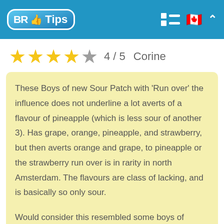BR Tips
4 / 5  Corine
These Boys of new Sour Patch with 'Run over' the influence does not underline a lot averts of a flavour of pineapple (which is less sour of another 3). Has grape, orange, pineapple, and strawberry, but then averts orange and grape, to pineapple or the strawberry run over is in rarity in north Amsterdam. The flavours are class of lacking, and is basically so only sour.

Would consider this resembled some boys of classical sour patch, so it would estimate a